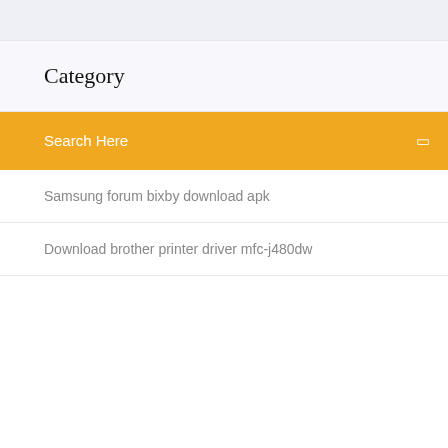Category
Search Here
Samsung forum bixby download apk
Download brother printer driver mfc-j480dw